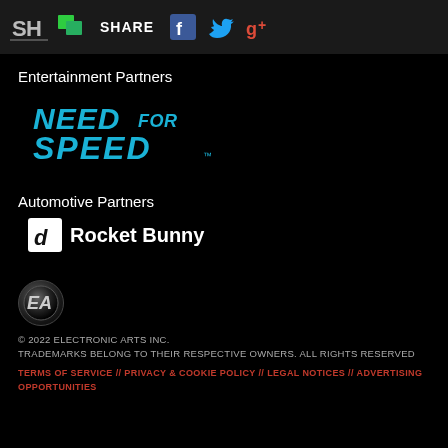SH [logo] | [share icon] SHARE | [facebook] [twitter] [google+]
Entertainment Partners
[Figure (logo): Need for Speed logo in blue italic stylized text]
Automotive Partners
[Figure (logo): Rocket Bunny logo with square icon and bold white text]
[Figure (logo): EA (Electronic Arts) circular badge logo]
© 2022 ELECTRONIC ARTS INC.
TRADEMARKS BELONG TO THEIR RESPECTIVE OWNERS. ALL RIGHTS RESERVED
TERMS OF SERVICE // PRIVACY & COOKIE POLICY // LEGAL NOTICES // ADVERTISING OPPORTUNITIES